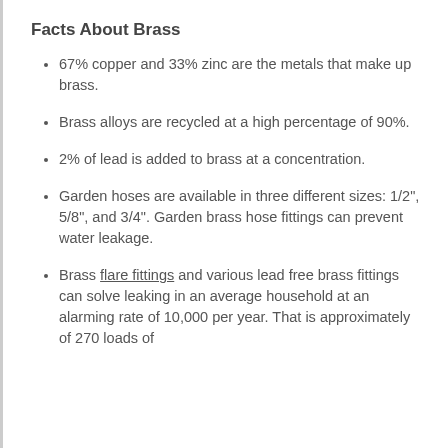Facts About Brass
67% copper and 33% zinc are the metals that make up brass.
Brass alloys are recycled at a high percentage of 90%.
2% of lead is added to brass at a concentration.
Garden hoses are available in three different sizes: 1/2", 5/8", and 3/4". Garden brass hose fittings can prevent water leakage.
Brass flare fittings and various lead free brass fittings can solve leaking in an average household at an alarming rate of 10,000 per year. That is approximately of 270 loads of